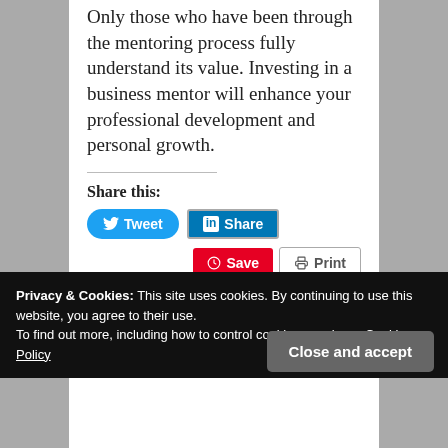Only those who have been through the mentoring process fully understand its value. Investing in a business mentor will enhance your professional development and personal growth.
Share this:
Tweet | Share | Save | Print | Email
Like this:
Privacy & Cookies: This site uses cookies. By continuing to use this website, you agree to their use. To find out more, including how to control cookies, see here: Cookie Policy
Close and accept